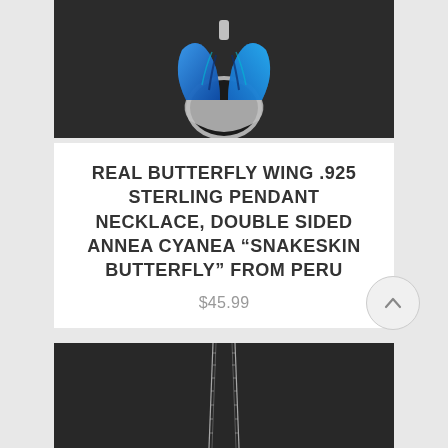[Figure (photo): Top portion of a butterfly wing pendant necklace with blue iridescent wings set in silver, photographed against a dark black background. Only the top part of the pendant is visible.]
REAL BUTTERFLY WING .925 STERLING PENDANT NECKLACE, DOUBLE SIDED ANNEA CYANEA “SNAKESKIN BUTTERFLY” FROM PERU
$45.99
[Figure (photo): Bottom portion of the necklace showing a thin silver chain against a dark black background.]